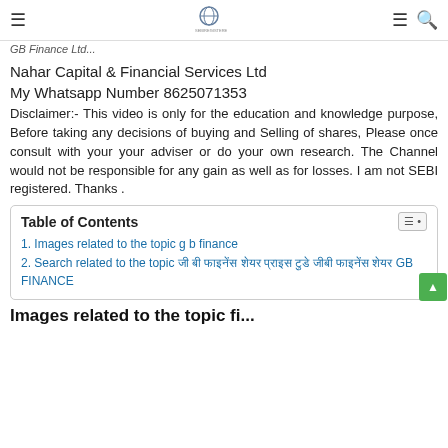GB Finance Ltd...
Nahar Capital & Financial Services Ltd
My Whatsapp Number 8625071353
Disclaimer:- This video is only for the education and knowledge purpose, Before taking any decisions of buying and Selling of shares, Please once consult with your your adviser or do your own research. The Channel would not be responsible for any gain as well as for losses. I am not SEBI registered. Thanks .
| Table of Contents |
| --- |
| 1. Images related to the topic g b finance |
| 2. Search related to the topic जी बी फाइनेंस शेयर प्राइस टुडे जीबी फाइनेंस शेयर GB FINANCE |
Images related to the topic fi...